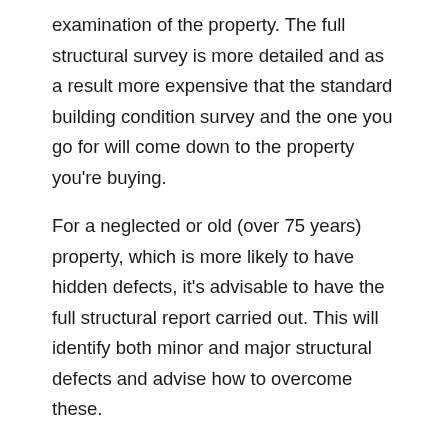examination of the property. The full structural survey is more detailed and as a result more expensive that the standard building condition survey and the one you go for will come down to the property you’re buying.
For a neglected or old (over 75 years) property, which is more likely to have hidden defects, it’s advisable to have the full structural report carried out. This will identify both minor and major structural defects and advise how to overcome these.
Surely if it’s a new house I don’t need one,